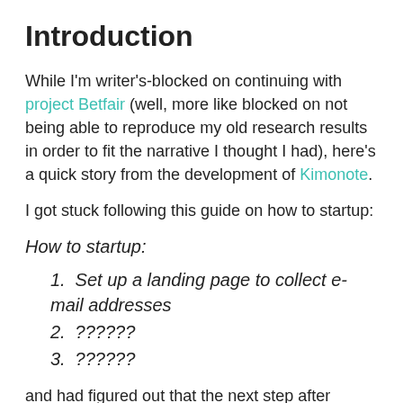Introduction
While I'm writer's-blocked on continuing with project Betfair (well, more like blocked on not being able to reproduce my old research results in order to fit the narrative I thought I had), here's a quick story from the development of Kimonote.
I got stuck following this guide on how to startup:
How to startup:
1. Set up a landing page to collect e-mail addresses
2. ??????
3. ??????
and had figured out that the next step after collecting e-